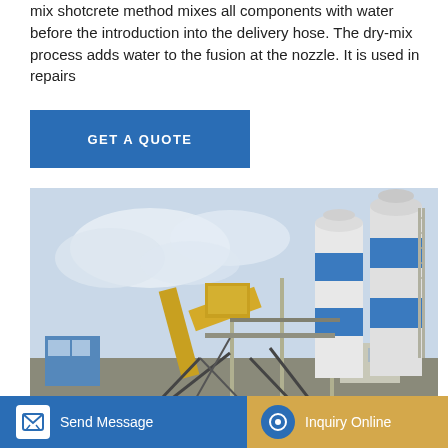mix shotcrete method mixes all components with water before the introduction into the delivery hose. The dry-mix process adds water to the fusion at the nozzle. It is used in repairs
GET A QUOTE
[Figure (photo): Industrial concrete batching plant with large blue-and-white cylindrical silos, a yellow conveyor/mixing structure, blue control building, scaffolding, and cloudy sky background.]
Pumps for Wet Mix Shotcreting
Send Message
Inquiry Online
Shotcrete: Methods, Advantages and Disadvantages